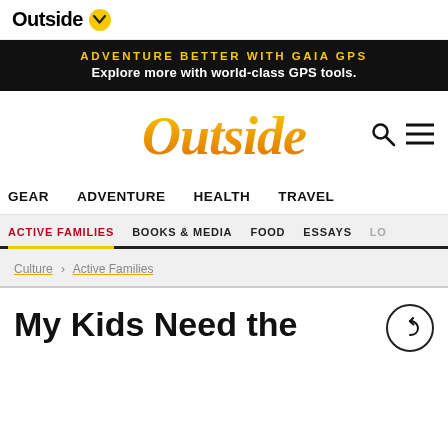Outside
ADVENTURE BETTER WITH GAIA GPS
Explore more with world-class GPS tools.
Outside
GEAR   ADVENTURE   HEALTH   TRAVEL
ACTIVE FAMILIES   BOOKS & MEDIA   FOOD   ESSAYS   LO…
Culture > Active Families
My Kids Need the